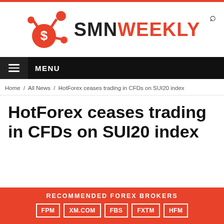SMN WEEKLY
[Figure (logo): SMNWeekly logo: red network/molecule icon with dollar sign center node, followed by bold text 'SMN' in black and 'WEEKLY' in red]
≡ MENU
Home / All News / HotForex ceases trading in CFDs on SUI20 index
HotForex ceases trading in CFDs on SUI20 index
RECOMMENDED FOREX BROKERS FPM XM.COM FBS FXTM HFM